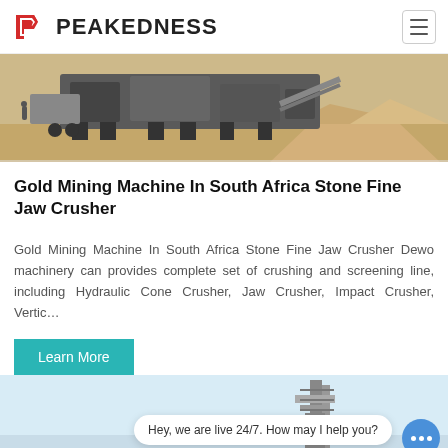PEAKEDNESS
[Figure (photo): Outdoor photo of heavy mining/crushing machinery with large pile of sand/gravel in background, on a dusty site.]
Gold Mining Machine In South Africa Stone Fine Jaw Crusher
Gold Mining Machine In South Africa Stone Fine Jaw Crusher Dewo machinery can provides complete set of crushing and screening line, including Hydraulic Cone Crusher, Jaw Crusher, Impact Crusher, Vertic…
Learn More
[Figure (photo): Partial view of industrial machinery structure against a light blue sky background, with a chat tooltip overlay reading 'Hey, we are live 24/7. How may I help you?']